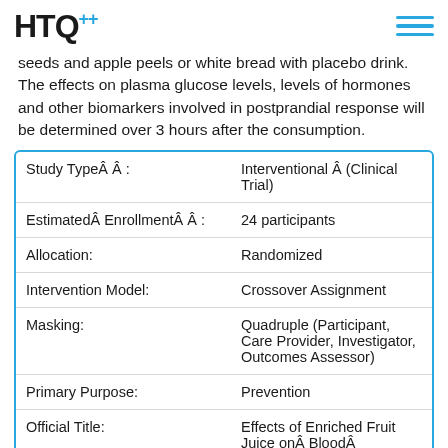HTQ
seeds and apple peels or white bread with placebo drink. The effects on plasma glucose levels, levels of hormones and other biomarkers involved in postprandial response will be determined over 3 hours after the consumption.
| Field | Value |
| --- | --- |
| Study TypeÂ Â : | Interventional Â (Clinical Trial) |
| EstimatedÂ EnrollmentÂ Â : | 24 participants |
| Allocation: | Randomized |
| Intervention Model: | Crossover Assignment |
| Masking: | Quadruple (Participant, Care Provider, Investigator, Outcomes Assessor) |
| Primary Purpose: | Prevention |
| Official Title: | Effects of Enriched Fruit Juice onÂ BloodÂ GlucoseÂ LevelsÂ Afte |